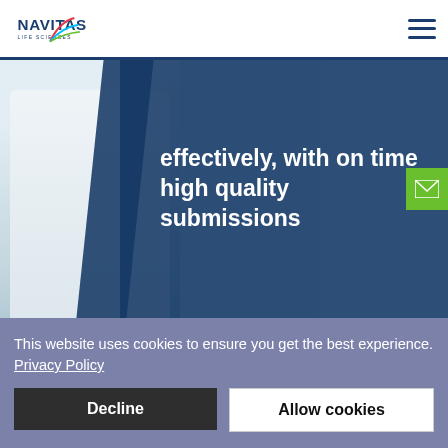Navitas Life Sciences
[Figure (screenshot): Navitas Life Sciences website hero section showing partial text 'effectively, with on time high quality submissions' over a dark blue overlay on a background photo of a person in a lab coat]
effectively, with on time high quality submissions
This website uses cookies to ensure you get the best experience. Privacy Policy
Decline
Allow cookies